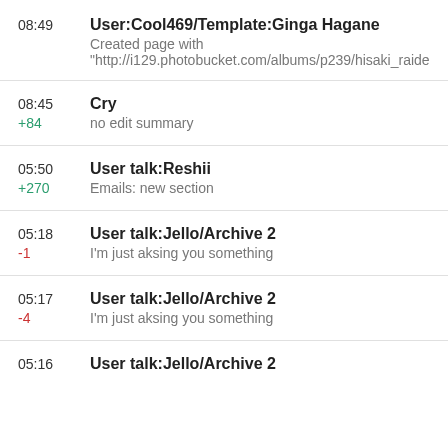08:49 | User:Cool469/Template:Ginga Hagane | Created page with "http://i129.photobucket.com/albums/p239/hisaki_raide
08:45 | Cry | +84 | no edit summary
05:50 | User talk:Reshii | +270 | Emails: new section
05:18 | User talk:Jello/Archive 2 | -1 | I'm just aksing you something
05:17 | User talk:Jello/Archive 2 | -4 | I'm just aksing you something
05:16 | User talk:Jello/Archive 2